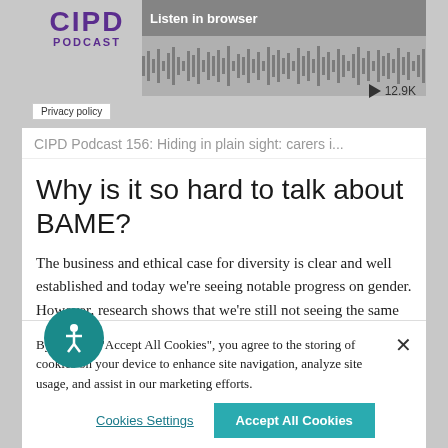[Figure (screenshot): CIPD Podcast player embedded widget with logo, waveform, Listen in browser button, privacy policy tag, and play count 12.9K]
CIPD  Podcast 156: Hiding in plain sight: carers i...
Why is it so hard to talk about BAME?
The business and ethical case for diversity is clear and well established and today we’re seeing notable progress on gender. However, research shows that we’re still not seeing the same pace of
By clicking “Accept All Cookies”, you agree to the storing of cookies on your device to enhance site navigation, analyze site usage, and assist in our marketing efforts.
Cookies Settings
Accept All Cookies